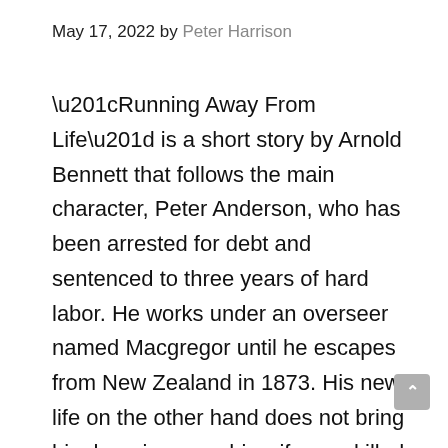May 17, 2022 by Peter Harrison
“Running Away From Life” is a short story by Arnold Bennett that follows the main character, Peter Anderson, who has been arrested for debt and sentenced to three years of hard labor. He works under an overseer named Macgregor until he escapes from New Zealand in 1873. His new life on the other hand does not bring him happiness as his wife was killed during childbirth four months ago and he feels depressed because people keep telling him what a lucky man he is for getting off so easily when others are still suffering